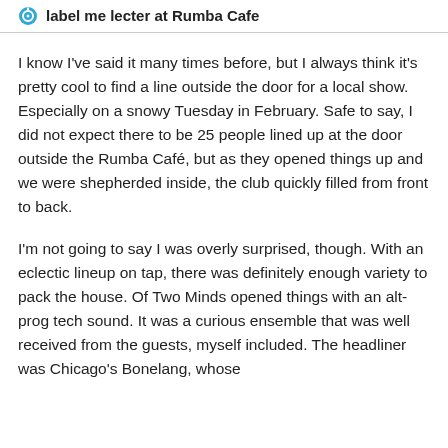label me lecter at Rumba Cafe
I know I've said it many times before, but I always think it's pretty cool to find a line outside the door for a local show. Especially on a snowy Tuesday in February. Safe to say, I did not expect there to be 25 people lined up at the door outside the Rumba Café, but as they opened things up and we were shepherded inside, the club quickly filled from front to back.
I'm not going to say I was overly surprised, though. With an eclectic lineup on tap, there was definitely enough variety to pack the house. Of Two Minds opened things with an alt-prog tech sound. It was a curious ensemble that was well received from the guests, myself included. The headliner was Chicago's Bonelang, whose